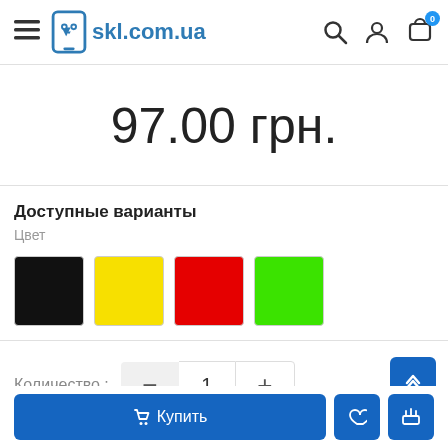skl.com.ua
97.00 грн.
Доступные варианты
Цвет
[Figure (other): Four color swatches: black, yellow, red, green]
Количество : 1
Купить